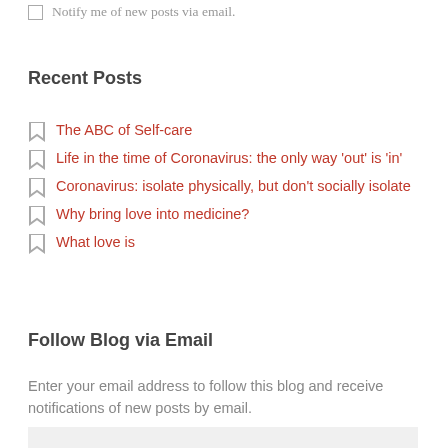☐ Notify me of new posts via email.
Recent Posts
The ABC of Self-care
Life in the time of Coronavirus: the only way 'out' is 'in'
Coronavirus: isolate physically, but don't socially isolate
Why bring love into medicine?
What love is
Follow Blog via Email
Enter your email address to follow this blog and receive notifications of new posts by email.